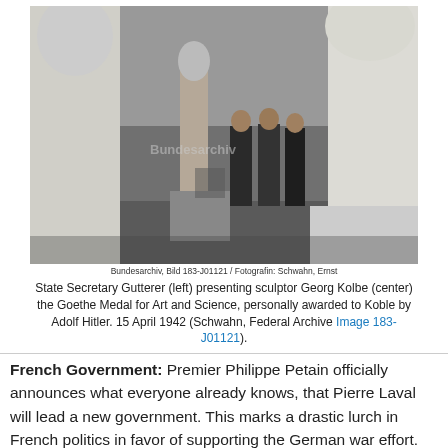[Figure (photo): Black and white photograph showing State Secretary Gutterer presenting sculptor Georg Kolbe the Goethe Medal for Art and Science in a studio with large statues visible.]
Bundesarchiv, Bild 183-J01121 / Fotografin: Schwahn, Ernst
State Secretary Gutterer (left) presenting sculptor Georg Kolbe (center) the Goethe Medal for Art and Science, personally awarded to Koble by Adolf Hitler. 15 April 1942 (Schwahn, Federal Archive Image 183-J01121).
French Government: Premier Philippe Petain officially announces what everyone already knows, that Pierre Laval will lead a new government. This marks a drastic lurch in French politics in favor of supporting the German war effort. Admiral Leahy, the US ambassador to Vichy France, prepares to return to the United States by the end of the month as a sign of US disapproval.